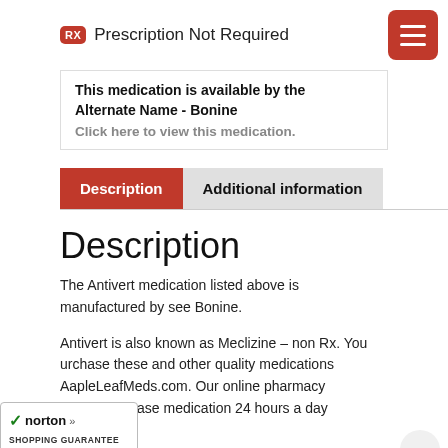RX Prescription Not Required
This medication is available by the Alternate Name - Bonine
Click here to view this medication.
Description | Additional information
Description
The Antivert medication listed above is manufactured by see Bonine.
Antivert is also known as Meclizine – non Rx. You purchase these and other quality medications MapleLeafMeds.com. Our online pharmacy you to purchase medication 24 hours a day